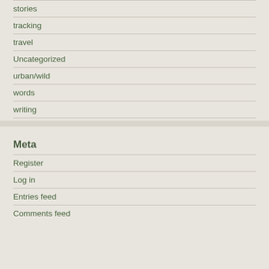stories
tracking
travel
Uncategorized
urban/wild
words
writing
Meta
Register
Log in
Entries feed
Comments feed